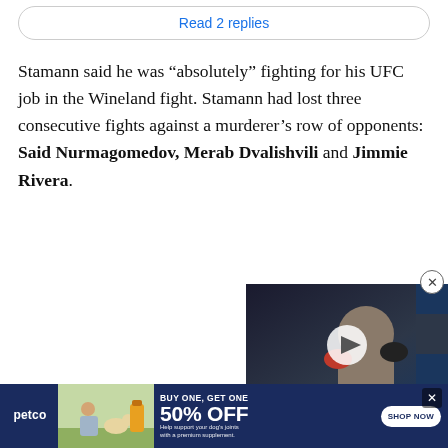Read 2 replies
Stamann said he was “absolutely” fighting for his UFC job in the Wineland fight. Stamann had lost three consecutive fights against a murderer’s row of opponents: Said Nurmagomedov, Merab Dvalishvili and Jimmie Rivera.
[Figure (photo): Video thumbnail showing a UFC fighter in the ring with a play button overlay]
[Figure (photo): Petco advertisement banner: BUY ONE, GET ONE 50% OFF. Help support your dog's joints with a premium supplement. SHOP NOW. Shows a woman with a dog and supplement products.]